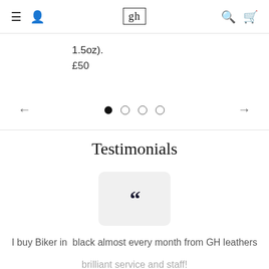gh (logo) — navigation bar with hamburger menu, user icon, search icon, cart icon
1.5oz).
£50
[Figure (other): Carousel navigation with left arrow, 4 pagination dots (first filled, three empty), and right arrow]
Testimonials
[Figure (other): Light grey rounded square containing large dark blue double quotation mark symbol]
I buy Biker in  black almost every month from GH leathers
brilliant service and staff!